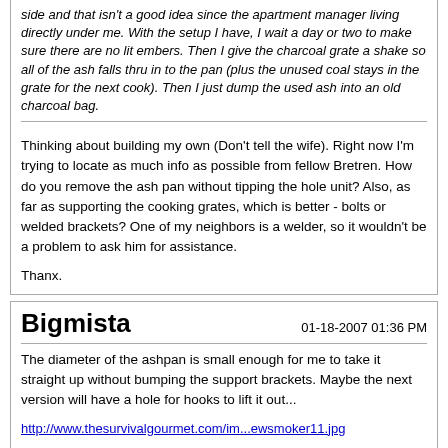side and that isn't a good idea since the apartment manager living directly under me. With the setup I have, I wait a day or two to make sure there are no lit embers. Then I give the charcoal grate a shake so all of the ash falls thru in to the pan (plus the unused coal stays in the grate for the next cook). Then I just dump the used ash into an old charcoal bag.
Thinking about building my own (Don't tell the wife). Right now I'm trying to locate as much info as possible from fellow Bretren. How do you remove the ash pan without tipping the hole unit? Also, as far as supporting the cooking grates, which is better - bolts or welded brackets? One of my neighbors is a welder, so it wouldn't be a problem to ask him for assistance.

Thanx.
Bigmista
01-18-2007 01:36 PM
The diameter of the ashpan is small enough for me to take it straight up without bumping the support brackets. Maybe the next version will have a hole for hooks to lift it out...

http://www.thesurvivalgourmet.com/im...ewsmoker11.jpg
motley_que